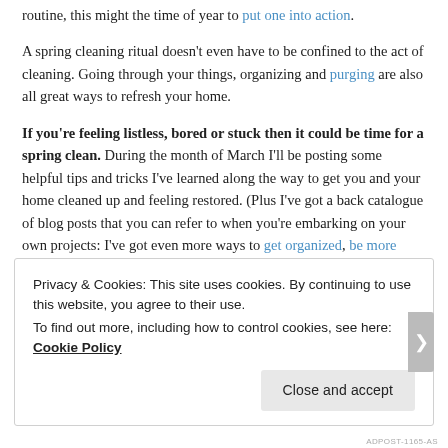routine, this might the time of year to put one into action.
A spring cleaning ritual doesn't even have to be confined to the act of cleaning. Going through your things, organizing and purging are also all great ways to refresh your home.
If you're feeling listless, bored or stuck then it could be time for a spring clean. During the month of March I'll be posting some helpful tips and tricks I've learned along the way to get you and your home cleaned up and feeling restored. (Plus I've got a back catalogue of blog posts that you can refer to when you're embarking on your own projects: I've got even more ways to get organized, be more productive, care for your home and manage your lifestyle.)
Privacy & Cookies: This site uses cookies. By continuing to use this website, you agree to their use. To find out more, including how to control cookies, see here: Cookie Policy